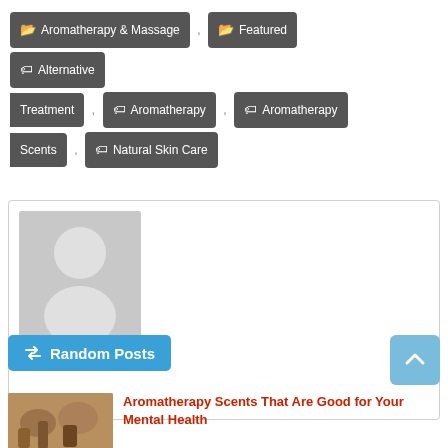Aromatherapy & Massage, Featured, Alternative Treatment, Aromatherapy, Aromatherapy Scents, Natural Skin Care
[Figure (photo): Generic admin user avatar placeholder showing a silhouette of a person on a grey background]
ADMIN
Random Posts
[Figure (photo): Thumbnail image of aromatherapy bottles and natural ingredients]
Aromatherapy Scents That Are Good for Your Mental Health